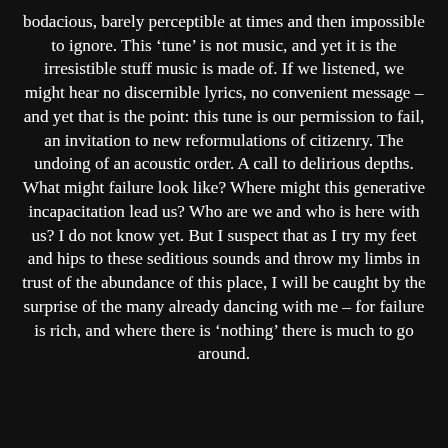bodacious, barely perceptible at times and then impossible to ignore. This 'tune' is not music, and yet it is the irresistible stuff music is made of. If we listened, we might hear no discernible lyrics, no convenient message – and yet that is the point: this tune is our permission to fail, an invitation to new reformulations of citizenry. The undoing of an acoustic order. A call to delirious depths. What might failure look like? Where might this generative incapacitation lead us? Who are we and who is here with us? I do not know yet. But I suspect that as I try my feet and hips to these seditious sounds and throw my limbs in trust of the abundance of this place, I will be caught by the surprise of the many already dancing with me – for failure is rich, and where there is 'nothing' there is much to go around.